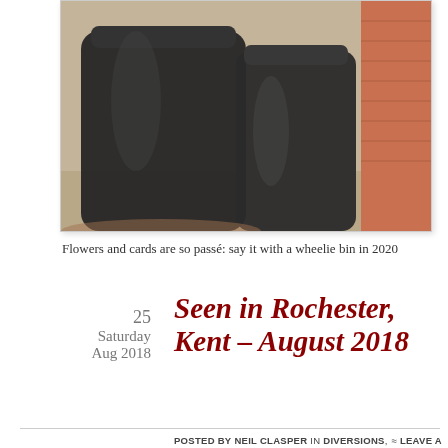[Figure (photo): Close-up photo of black wheelie bins against a brick wall, sandy ground visible]
Flowers and cards are so passé: say it with a wheelie bin in 2020
25
Saturday
Aug 2018
Seen in Rochester, Kent – August 2018
Posted by Neil Clasper in Diversions, Photography
≈ Leave a comment
[Figure (photo): Photo of a church spire against a cloudy sky in Rochester, Kent]